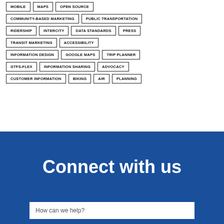MOBILE
MAPS
OPEN SOURCE
COMMUNITY-BASED MARKETING
PUBLIC TRANSPORTATION
RIDERSHIP
INTERCITY
DATA STANDARDS
PRESS
TRANSIT MARKETING
ACCESSIBILITY
INFORMATION DESIGN
GOOGLE MAPS
TRIP PLANNER
GTFS-FLEX
INFORMATION SHARING
ADVOCACY
CUSTOMER INFORMATION
BIKING
AIR
PLANNING
Connect with us
How can we help?